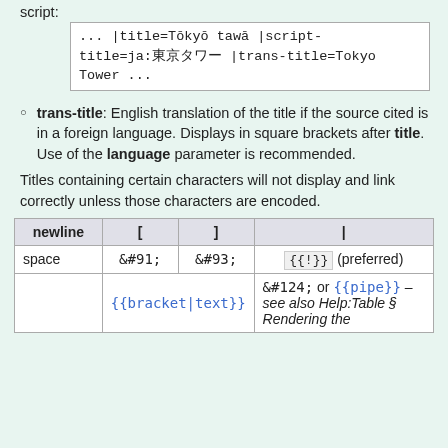script:
... |title=Tōkyō tawā |script-title=ja:東京タワー |trans-title=Tokyo Tower ...
trans-title: English translation of the title if the source cited is in a foreign language. Displays in square brackets after title. Use of the language parameter is recommended.
Titles containing certain characters will not display and link correctly unless those characters are encoded.
| newline | [ | ] | | |
| --- | --- | --- | --- |
| space | &#91; | &#93; | {{!}} (preferred) |
|  | {{bracket|text}} |  | &#124; or {{pipe}} – see also Help:Table § Rendering the |